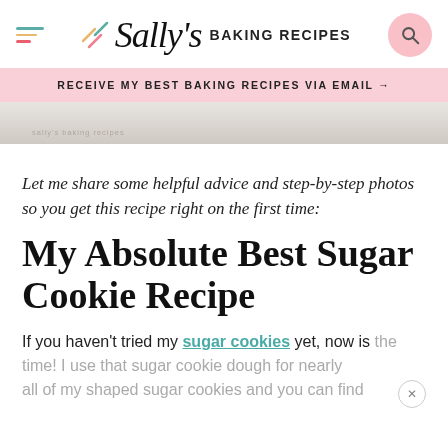Sally's Baking Recipes
RECEIVE MY BEST BAKING RECIPES VIA EMAIL →
[Figure (photo): Partial photo strip showing a marble surface with watermark text 'sally's baking recipes']
Let me share some helpful advice and step-by-step photos so you get this recipe right on the first time:
My Absolute Best Sugar Cookie Recipe
If you haven't tried my sugar cookies yet, now is the time! I use that sugar cookie dough for nearly all of my shaped sugar cookies and you can find